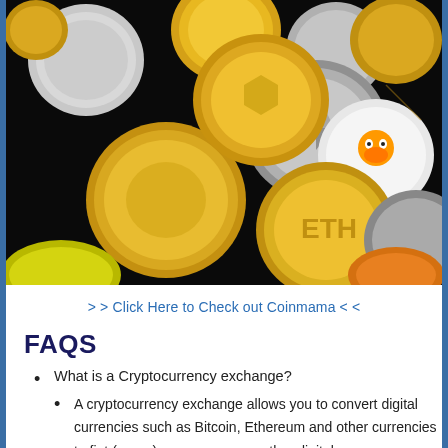[Figure (photo): A pile of various physical cryptocurrency coins (gold and silver colored) including tokens resembling Bitcoin, Ethereum, and others, spread across a dark background.]
> > Click Here to Check out Coinmama < <
FAQS
What is a Cryptocurrency exchange?
A cryptocurrency exchange allows you to convert digital currencies such as Bitcoin, Ethereum and other currencies to fiat (paper) currency or any other digital